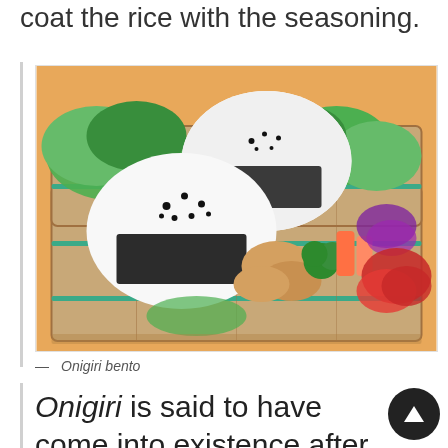coat the rice with the seasoning.
[Figure (photo): A bamboo bento box containing two onigiri (rice balls) wrapped in nori seaweed and topped with black sesame seeds, surrounded by green lettuce and various side dishes including vegetables and fried chicken.]
— Onigiri bento
Onigiri is said to have come into existence after uruchimai,